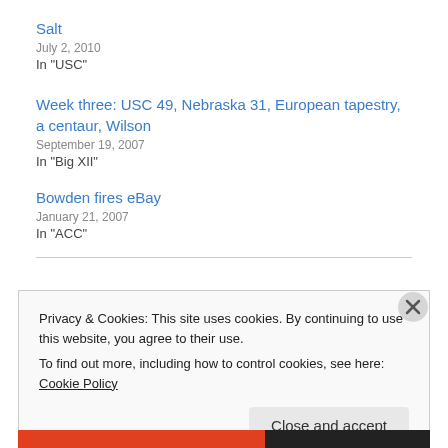Salt
July 2, 2010
In "USC"
Week three: USC 49, Nebraska 31, European tapestry, a centaur, Wilson
September 19, 2007
In "Big XII"
Bowden fires eBay
January 21, 2007
In "ACC"
Privacy & Cookies: This site uses cookies. By continuing to use this website, you agree to their use.
To find out more, including how to control cookies, see here: Cookie Policy
Close and accept